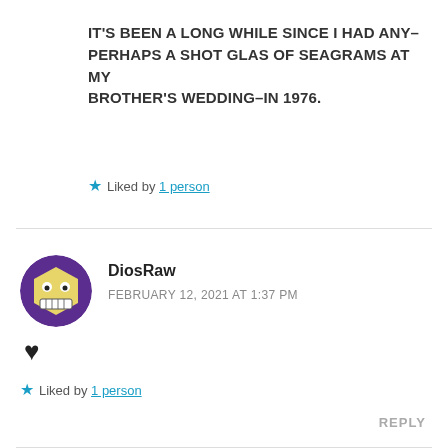IT'S BEEN A LONG WHILE SINCE I HAD ANY–PERHAPS A SHOT GLAS OF SEAGRAMS AT MY BROTHER'S WEDDING–IN 1976.
★ Liked by 1 person
[Figure (illustration): Round purple avatar icon with a cartoon face showing large eyes and sharp teeth on a yellow face]
DiosRaw
FEBRUARY 12, 2021 AT 1:37 PM
♥
★ Liked by 1 person
REPLY